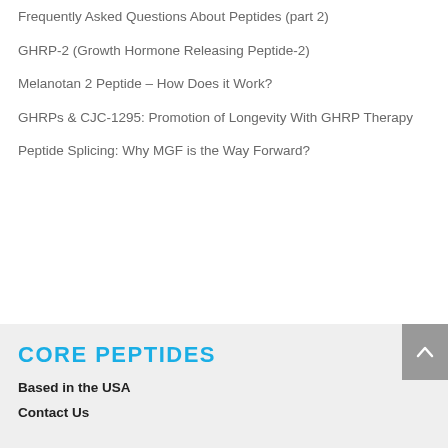Frequently Asked Questions About Peptides (part 2)
GHRP-2 (Growth Hormone Releasing Peptide-2)
Melanotan 2 Peptide – How Does it Work?
GHRPs & CJC-1295: Promotion of Longevity With GHRP Therapy
Peptide Splicing: Why MGF is the Way Forward?
CORE PEPTIDES
Based in the USA
Contact Us